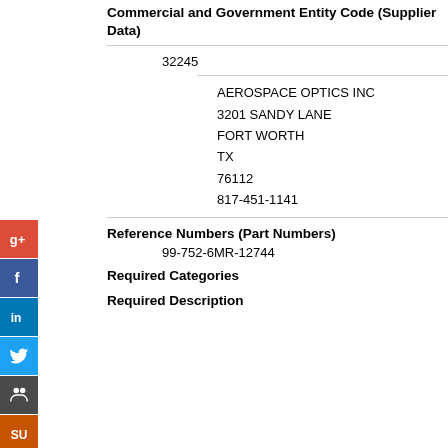Commercial and Government Entity Code (Supplier Data)
32245
AEROSPACE OPTICS INC
3201 SANDY LANE
FORT WORTH
TX
76112
817-451-1141
Reference Numbers (Part Numbers)
99-752-6MR-12744
Required Categories
Required Description